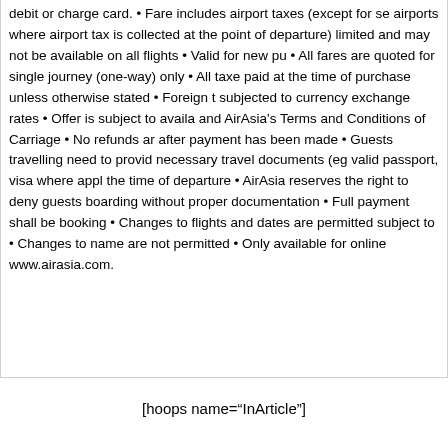debit or charge card. • Fare includes airport taxes (except for some airports where airport tax is collected at the point of departure) limited and may not be available on all flights • Valid for new pu • All fares are quoted for single journey (one-way) only • All taxe paid at the time of purchase unless otherwise stated • Foreign t subjected to currency exchange rates • Offer is subject to availa and AirAsia's Terms and Conditions of Carriage • No refunds ar after payment has been made • Guests travelling need to provid necessary travel documents (eg valid passport, visa where appl the time of departure • AirAsia reserves the right to deny guests boarding without proper documentation • Full payment shall be booking • Changes to flights and dates are permitted subject to • Changes to name are not permitted • Only available for online www.airasia.com.
[hoops name="InArticle"]